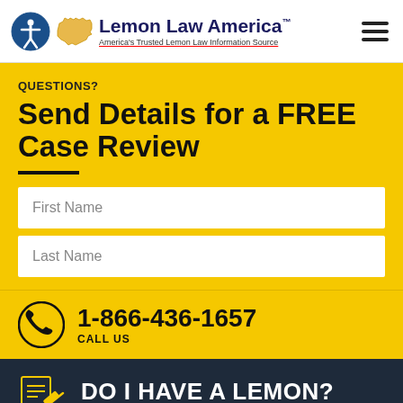Lemon Law America™ — America's Trusted Lemon Law Information Source
QUESTIONS?
Send Details for a FREE Case Review
First Name
Last Name
1-866-436-1657
CALL US
DO I HAVE A LEMON?
CLICK TO FIND OUT